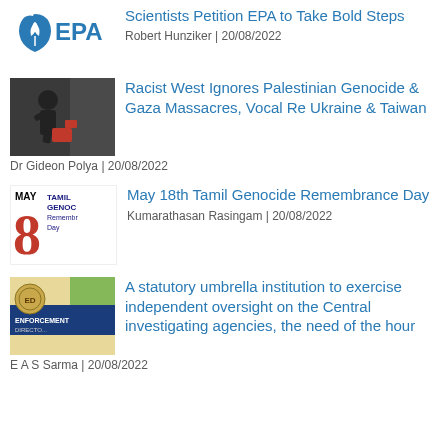[Figure (logo): EPA logo - blue shield with leaf and EPA text]
Scientists Petition EPA to Take Bold Steps
Robert Hunziker | 20/08/2022
[Figure (photo): Person with machinery or equipment, dark tones]
Racist West Ignores Palestinian Genocide & Gaza Massacres, Vocal Re Ukraine & Taiwan
Dr Gideon Polya | 20/08/2022
[Figure (logo): May 8 Tamil Genocide Remembrance Day logo]
May 18th Tamil Genocide Remembrance Day
Kumarathasan Rasingam | 20/08/2022
[Figure (photo): Enforcement Directorate banner/sign]
A statutory umbrella institution to exercise independent oversight on the Central investigating agencies, the need of the hour
E A S Sarma | 20/08/2022